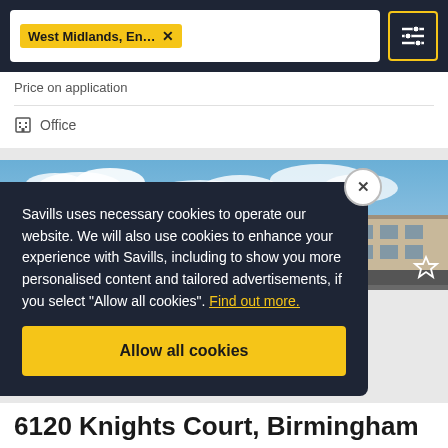[Figure (screenshot): Search bar with West Midlands, En... location filter tag and filter/settings button on dark navy background]
Price on application
Office
[Figure (photo): Exterior photo of a commercial office building under a blue sky with clouds. Building has glass facade visible at right edge.]
Savills uses necessary cookies to operate our website. We will also use cookies to enhance your experience with Savills, including to show you more personalised content and tailored advertisements, if you select “Allow all cookies”. Find out more.
Allow all cookies
6120 Knights Court, Birmingham